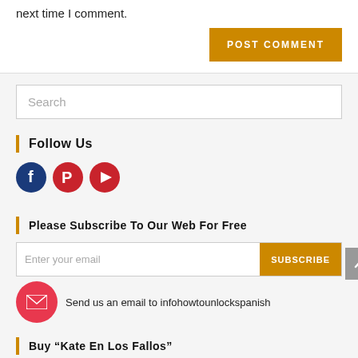next time I comment.
POST COMMENT
Search
Follow Us
[Figure (illustration): Social media icons: Facebook (dark blue circle with f), Pinterest (red circle with P), YouTube (red circle with play button)]
Please Subscribe To Our Web For Free
Enter your email
SUBSCRIBE
Send us an email to infohowtounlockspanish
Buy "Kate En Los Fallos"